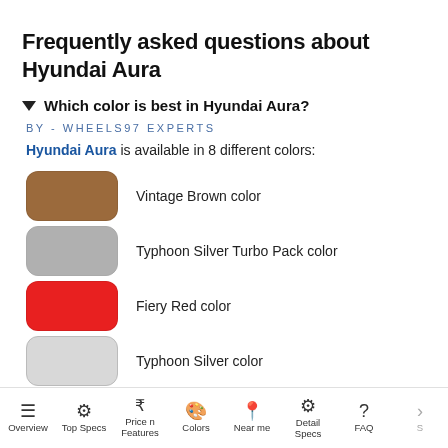Frequently asked questions about Hyundai Aura
▼ Which color is best in Hyundai Aura?
BY - WHEELS97 EXPERTS
Hyundai Aura is available in 8 different colors:
Vintage Brown color
Typhoon Silver Turbo Pack color
Fiery Red color
Typhoon Silver color
Alpha Blue color
Fiery Red Turbo Pack color
Overview | Top Specs | Price n Features | Colors | Near me | Detail Specs | FAQ | S